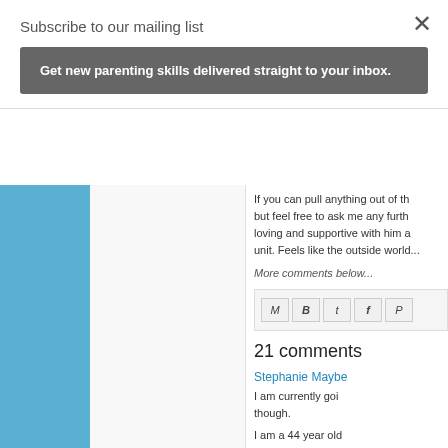Subscribe to our mailing list
Get new parenting skills delivered straight to your inbox.
If you can pull anything out of th... but feel free to ask me any furth... loving and supportive with him a... unit. Feels like the outside world...
More comments below...
21 comments
Stephanie Maybе
I am currently goi... though.
I am a 44 year old...